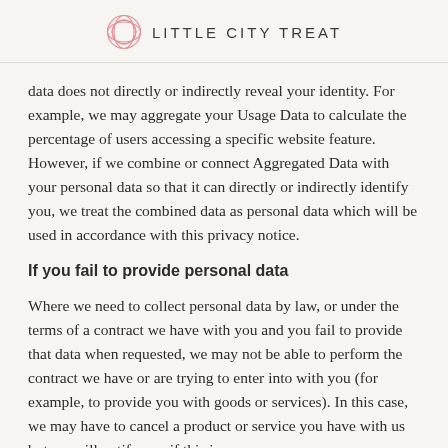LITTLE CITY TREAT
data does not directly or indirectly reveal your identity. For example, we may aggregate your Usage Data to calculate the percentage of users accessing a specific website feature. However, if we combine or connect Aggregated Data with your personal data so that it can directly or indirectly identify you, we treat the combined data as personal data which will be used in accordance with this privacy notice.
If you fail to provide personal data
Where we need to collect personal data by law, or under the terms of a contract we have with you and you fail to provide that data when requested, we may not be able to perform the contract we have or are trying to enter into with you (for example, to provide you with goods or services). In this case, we may have to cancel a product or service you have with us but we will notify you if this is